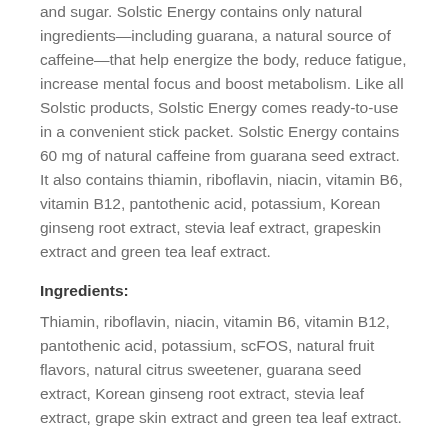and sugar. Solstic Energy contains only natural ingredients—including guarana, a natural source of caffeine—that help energize the body, reduce fatigue, increase mental focus and boost metabolism. Like all Solstic products, Solstic Energy comes ready-to-use in a convenient stick packet. Solstic Energy contains 60 mg of natural caffeine from guarana seed extract. It also contains thiamin, riboflavin, niacin, vitamin B6, vitamin B12, pantothenic acid, potassium, Korean ginseng root extract, stevia leaf extract, grapeskin extract and green tea leaf extract.
Ingredients:
Thiamin, riboflavin, niacin, vitamin B6, vitamin B12, pantothenic acid, potassium, scFOS, natural fruit flavors, natural citrus sweetener, guarana seed extract, Korean ginseng root extract, stevia leaf extract, grape skin extract and green tea leaf extract.